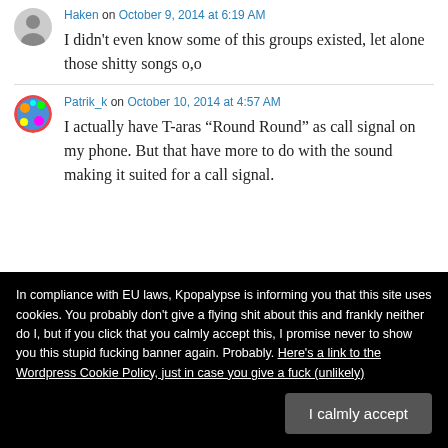Haken on October 9, 2014 at 6:19 AM
I didn't even know some of this groups existed, let alone those shitty songs o,o
Patrik_k on October 10, 2014 at 4:57 AM
I actually have T-aras “Round Round” as call signal on my phone. But that have more to do with the sound making it suited for a call signal.
In compliance with EU laws, Kpopalypse is informing you that this site uses cookies. You probably don't give a flying shit about this and frankly neither do I, but if you click that you calmly accept this, I promise never to show you this stupid fucking banner again. Probably. Here's a link to the Wordpress Cookie Policy, just in case you give a fuck (unlikely)